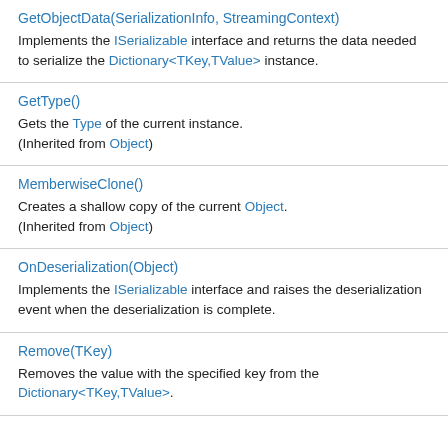GetObjectData(SerializationInfo, StreamingContext)
Implements the ISerializable interface and returns the data needed to serialize the Dictionary<TKey,TValue> instance.
GetType()
Gets the Type of the current instance.
(Inherited from Object)
MemberwiseClone()
Creates a shallow copy of the current Object.
(Inherited from Object)
OnDeserialization(Object)
Implements the ISerializable interface and raises the deserialization event when the deserialization is complete.
Remove(TKey)
Removes the value with the specified key from the Dictionary<TKey,TValue>.